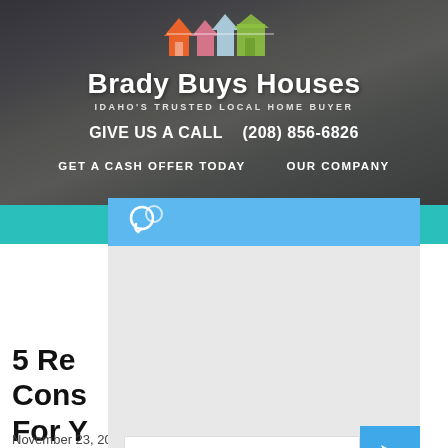[Figure (screenshot): Brady Buys Houses website header with house logo icons, company name, tagline 'Idaho's Trusted Local Home Buyer', phone number, and navigation links on a dark street photo background.]
Brady Buys Houses
IDAHO'S TRUSTED LOCAL HOME BUYER
GIVE US A CALL   (208) 856-6826
GET A CASH OFFER TODAY    OUR COMPANY
[Figure (screenshot): Chat widget with blue header containing chat bubble icon, light gray body area, text input field with placeholder 'Send a message...' and blue send button with arrow.]
5 Re...
Cons...
For Y...
November 23, 2020